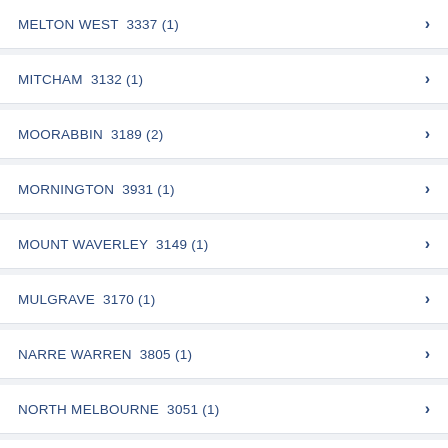MELTON WEST  3337 (1)
MITCHAM  3132 (1)
MOORABBIN  3189 (2)
MORNINGTON  3931 (1)
MOUNT WAVERLEY  3149 (1)
MULGRAVE  3170 (1)
NARRE WARREN  3805 (1)
NORTH MELBOURNE  3051 (1)
NUNAWADING  3131 (1)